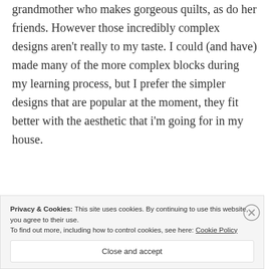grandmother who makes gorgeous quilts, as do her friends. However those incredibly complex designs aren't really to my taste. I could (and have) made many of the more complex blocks during my learning process, but I prefer the simpler designs that are popular at the moment, they fit better with the aesthetic that i'm going for in my house.
[Figure (illustration): Cartoon ladybug avatar with googly eyes and antennae on a light grey circular background]
TxAggie
Privacy & Cookies: This site uses cookies. By continuing to use this website, you agree to their use.
To find out more, including how to control cookies, see here: Cookie Policy
Close and accept